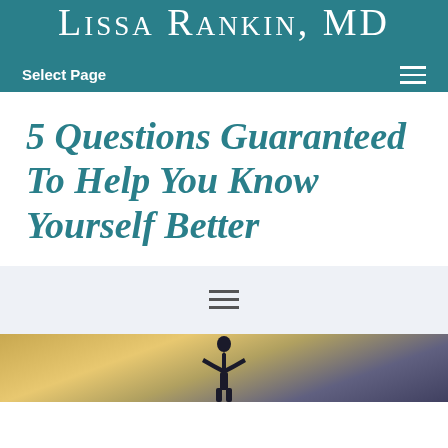Lissa Rankin, MD
Select Page
5 Questions Guaranteed To Help You Know Yourself Better
[Figure (screenshot): Share/menu bar with hamburger icon on light blue-grey background]
[Figure (photo): Person silhouette with arms raised against a dramatic sunset sky with clouds]